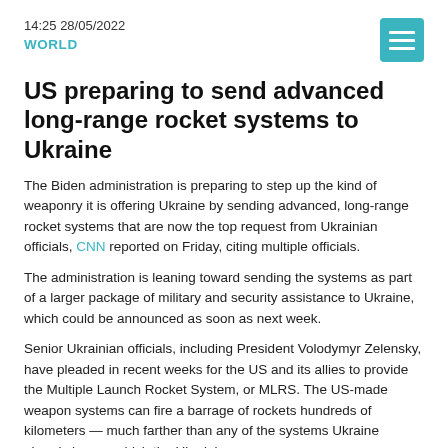14:25 28/05/2022
WORLD
US preparing to send advanced long-range rocket systems to Ukraine
The Biden administration is preparing to step up the kind of weaponry it is offering Ukraine by sending advanced, long-range rocket systems that are now the top request from Ukrainian officials, CNN reported on Friday, citing multiple officials.
The administration is leaning toward sending the systems as part of a larger package of military and security assistance to Ukraine, which could be announced as soon as next week.
Senior Ukrainian officials, including President Volodymyr Zelensky, have pleaded in recent weeks for the US and its allies to provide the Multiple Launch Rocket System, or MLRS. The US-made weapon systems can fire a barrage of rockets hundreds of kilometers — much farther than any of the systems Ukraine already has — which the Ukrainians argue